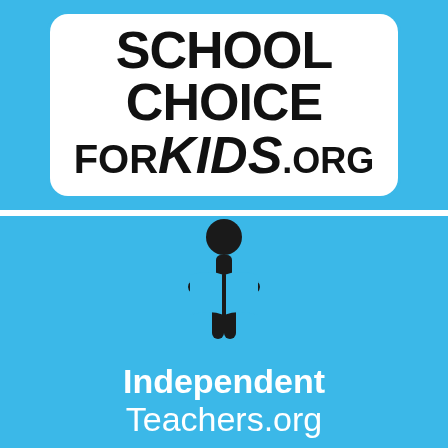[Figure (logo): SchoolChoiceForKids.org logo: bold black text on white rounded rectangle against blue background, reading SCHOOL CHOICE FOR KIDS.ORG]
[Figure (logo): IndependentTeachers.org logo: stick figure reading a book icon above white text 'Independent Teachers.org' on blue background]